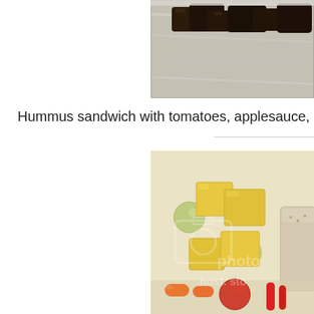[Figure (photo): Top portion of a food container with dark chocolate or brownie pieces on aluminum foil in a plastic container, partially cropped]
Hummus sandwich with tomatoes, applesauce, string cheese, r
[Figure (photo): Lunch box container with yellow cheese cubes, green grapes, carrots, tomatoes, and a sandwich with a photobucket watermark overlay]